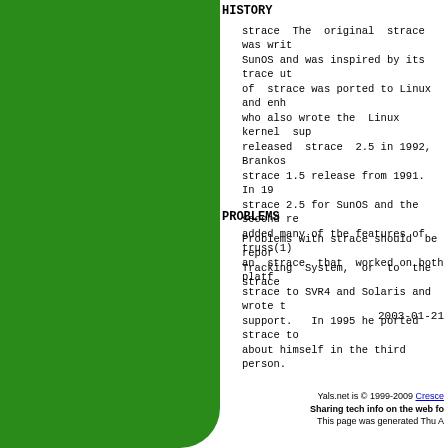HISTORY
strace  The  original  strace was writ... SunOS and was inspired by its trace ut... of  strace was ported to Linux and enh... who also wrote the  Linux  kernel  sup... released  strace  2.5 in 1992, Brankos... strace 1.5 release from 1991.   In 19... strace 2.5 for SunOS and the second re... added many of the features of truss(1)... an  strace  that  worked on both platf... strace to SVR4 and Solaris and wrote t... support.   In 1995 he ported strace to... about himself in the third person.
PROBLEMS
Problems with strace should  be  repor... Tracking  System,  or  to  the  strace...
2003-01-21
Yals.net is © 1999-2009 Cresce... Sharing tech info on the web fo... This page was generated Thu A...